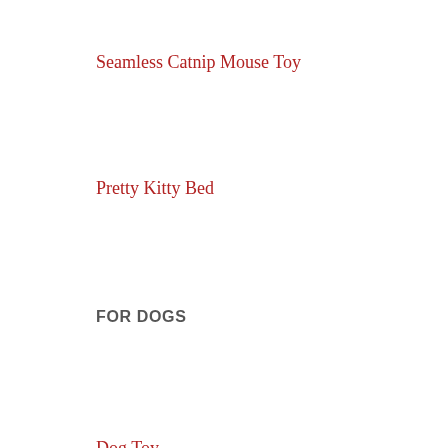Seamless Catnip Mouse Toy
Pretty Kitty Bed
FOR DOGS
Dog Toy
Indy's Ball
Cold Snap Collar
Bow Tie Collar
Buster's Knitted Bow Tie